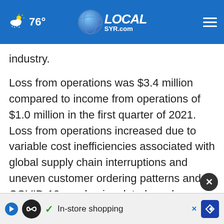LOCALsyr.com — 76°
industry.
Loss from operations was $3.4 million compared to income from operations of $1.0 million in the first quarter of 2021. Loss from operations increased due to variable cost inefficiencies associated with global supply chain interruptions and uneven customer ordering patterns and COVID-19 pandemic related employee absenteeism. In addition, the prior year c…
[Figure (screenshot): Ad bar overlay at bottom with play button, infinity icon, checkmark, 'In-store shopping' text, and navigation arrow icon. Close (X) button above ad bar.]